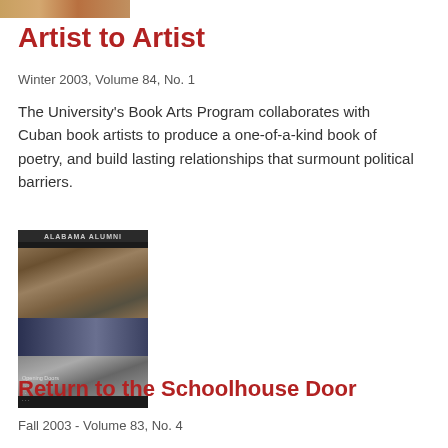[Figure (photo): Partial magazine cover image visible at top of page]
Artist to Artist
Winter 2003, Volume 84, No. 1
The University's Book Arts Program collaborates with Cuban book artists to produce a one-of-a-kind book of poetry, and build lasting relationships that surmount political barriers.
[Figure (photo): Alabama Alumni Magazine cover showing black and white historical photographs of groups of people, with text 'ALABAMA ALUMNI' at top and caption text at bottom reading 'Opening Doors']
Return to the Schoolhouse Door
Fall 2003 - Volume 83, No. 4